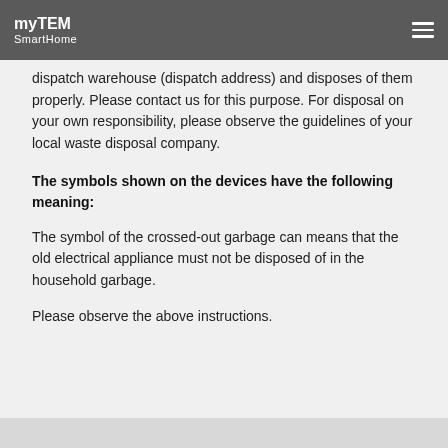myTEM SmartHome
dispatch warehouse (dispatch address) and disposes of them properly. Please contact us for this purpose. For disposal on your own responsibility, please observe the guidelines of your local waste disposal company.
The symbols shown on the devices have the following meaning:
The symbol of the crossed-out garbage can means that the old electrical appliance must not be disposed of in the household garbage.
Please observe the above instructions.